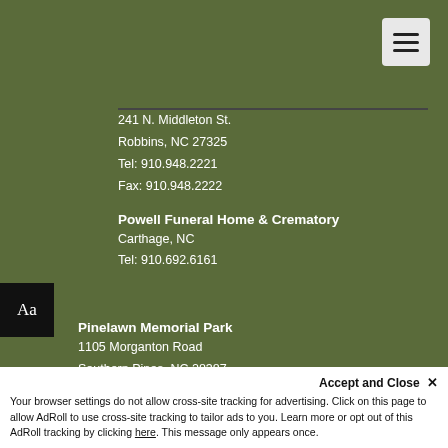241 N. Middleton St.
Robbins, NC 27325
Tel: 910.948.2221
Fax: 910.948.2222
Powell Funeral Home & Crematory
Carthage, NC
Tel: 910.692.6161
Pinelawn Memorial Park
1105 Morganton Road
Southern Pines, NC 28387
Tel: 910.692.6801
Fax: 910.692.6171
Pines Cremation Service
BY APPOINTMENT ONLY
Accept and Close ×
Your browser settings do not allow cross-site tracking for advertising. Click on this page to allow AdRoll to use cross-site tracking to tailor ads to you. Learn more or opt out of this AdRoll tracking by clicking here. This message only appears once.